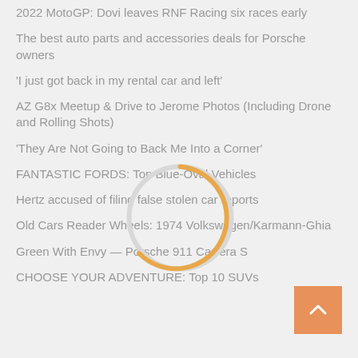2022 MotoGP: Dovi leaves RNF Racing six races early
The best auto parts and accessories deals for Porsche owners
'I just got back in my rental car and left'
AZ G8x Meetup & Drive to Jerome Photos (Including Drone and Rolling Shots)
'They Are Not Going to Back Me Into a Corner'
FANTASTIC FORDS: Top Blue-Oval Vehicles
Hertz accused of filing false stolen car reports
Old Cars Reader Wheels: 1974 Volkswagen/Karmann-Ghia
Green With Envy — Porsche 911 Carrera S
CHOOSE YOUR ADVENTURE: Top 10 SUVs
[Figure (other): Circular loading spinner with orange arc on grey circle background]